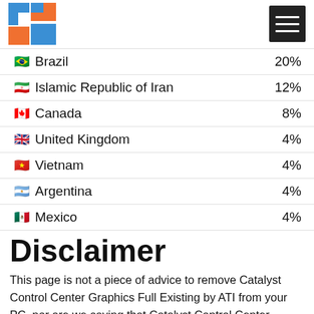Logo and navigation header
🇧🇷 Brazil  20%
🇮🇷 Islamic Republic of Iran  12%
🇨🇦 Canada  8%
🇬🇧 United Kingdom  4%
🇻🇳 Vietnam  4%
🇦🇷 Argentina  4%
🇲🇽 Mexico  4%
Disclaimer
This page is not a piece of advice to remove Catalyst Control Center Graphics Full Existing by ATI from your PC, nor are we saying that Catalyst Control Center Graphics Full Existing by ATI is not a good